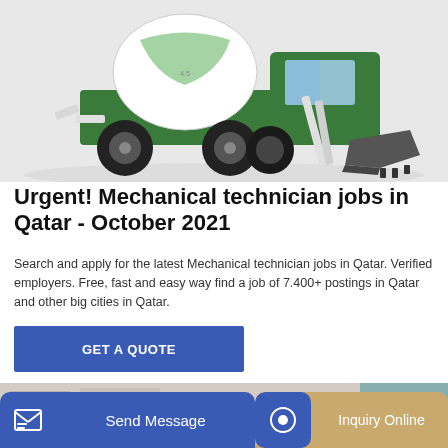[Figure (photo): Green and white self-loading concrete mixer truck with large front bucket/shovel, photographed on a light gray background.]
Urgent! Mechanical technician jobs in Qatar - October 2021
Search and apply for the latest Mechanical technician jobs in Qatar. Verified employers. Free, fast and easy way find a job of 7.400+ postings in Qatar and other big cities in Qatar.
GET A QUOTE
[Figure (photo): Partial view of an orange truck or vehicle near a building, bottom portion of page.]
Send Message
Inquiry Online